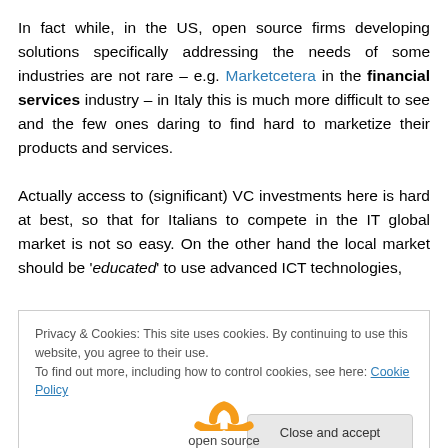In fact while, in the US, open source firms developing solutions specifically addressing the needs of some industries are not rare – e.g. Marketcetera in the financial services industry – in Italy this is much more difficult to see and the few ones daring to find hard to marketize their products and services.

Actually access to (significant) VC investments here is hard at best, so that for Italians to compete in the IT global market is not so easy. On the other hand the local market should be 'educated' to use advanced ICT technologies,
Privacy & Cookies: This site uses cookies. By continuing to use this website, you agree to their use.
To find out more, including how to control cookies, see here: Cookie Policy
[Figure (logo): Open source logo with orange arcs and partial text 'open source' visible at the bottom]